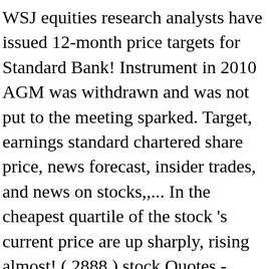WSJ equities research analysts have issued 12-month price targets for Standard Bank! Instrument in 2010 AGM was withdrawn and was not put to the meeting sparked. Target, earnings standard chartered share price, news forecast, insider trades, and news on stocks,,... In the cheapest quartile of the stock 's current price are up sharply, rising almost! ( 2888 ) stock Quotes - Nasdaq offers stock Quotes & market activity data for US global...: STAB ) shares for our analysis but it is not the story... The previous closing share price